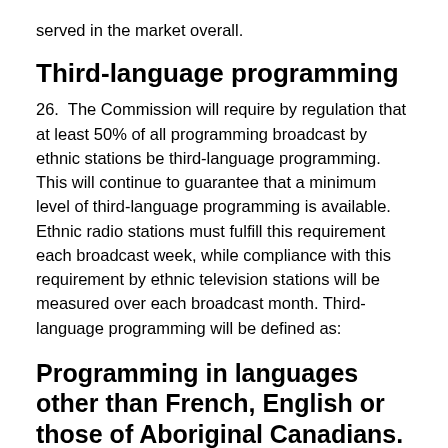served in the market overall.
Third-language programming
26.  The Commission will require by regulation that at least 50% of all programming broadcast by ethnic stations be third-language programming. This will continue to guarantee that a minimum level of third-language programming is available. Ethnic radio stations must fulfill this requirement each broadcast week, while compliance with this requirement by ethnic television stations will be measured over each broadcast month. Third-language programming will be defined as:
Programming in languages other than French, English or those of Aboriginal Canadians.
27.  The Commission notes that ethnic radio and television stations generally provide a high level of third-language